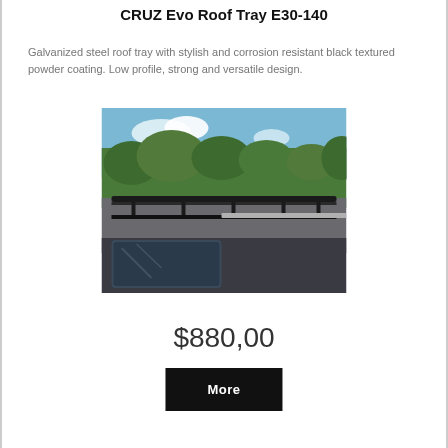CRUZ Evo Roof Tray E30-140
Galvanized steel roof tray with stylish and corrosion resistant black textured powder coating. Low profile, strong and versatile design.
[Figure (photo): Photo of a CRUZ Evo Roof Tray E30-140 mounted on top of a van, shown from a rear angle with trees and blue sky in the background]
$880,00
More